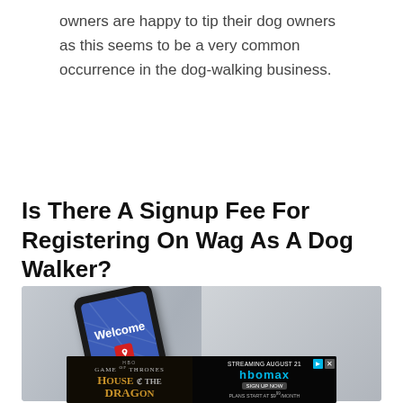owners are happy to tip their dog owners as this seems to be a very common occurrence in the dog-walking business.
Is There A Signup Fee For Registering On Wag As A Dog Walker?
[Figure (photo): A smartphone with a blue welcome screen showing the Airbnb logo placed on a gray wooden surface]
[Figure (other): Advertisement for HBO Max streaming House of the Dragon, streaming August, plans start at $9/month]